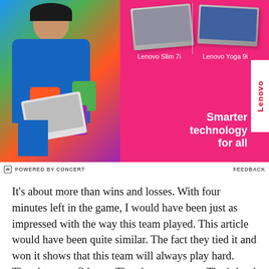[Figure (photo): Lenovo advertisement on pink background. A woman in colorful clothing holding a white laptop. Two laptop products shown: Lenovo Slim 7i and Lenovo Yoga 9i. Text reads 'Smarter technology for all' with Lenovo logo.]
POWERED BY CONCERT   FEEDBACK
It's about more than wins and losses. With four minutes left in the game, I would have been just as impressed with the way this team played. This article would have been quite similar. The fact they tied it and won it shows that this team will always play hard. They have confidence. They have swagger. That's hard to